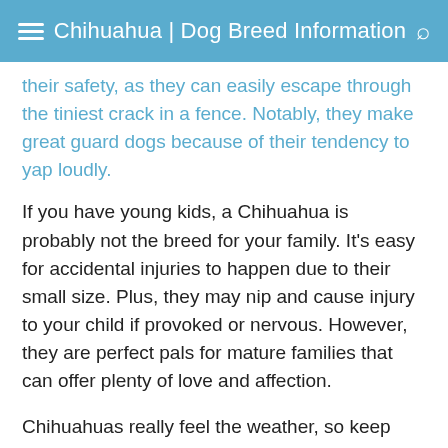Chihuahua | Dog Breed Information
their safety, as they can easily escape through the tiniest crack in a fence. Notably, they make great guard dogs because of their tendency to yap loudly.
If you have young kids, a Chihuahua is probably not the breed for your family. It's easy for accidental injuries to happen due to their small size. Plus, they may nip and cause injury to your child if provoked or nervous. However, they are perfect pals for mature families that can offer plenty of love and affection.
Chihuahuas really feel the weather, so keep them safe inside in extreme conditions. Don't overdo exercise or play sessions when temperatures rise.